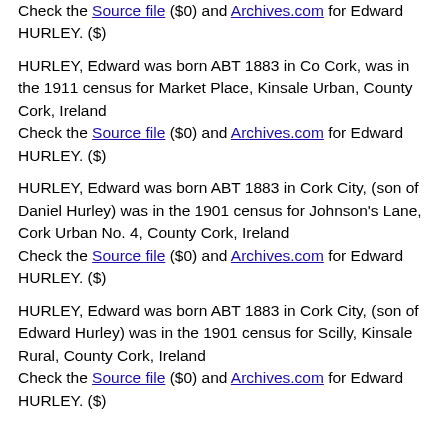Check the Source file ($0) and Archives.com for Edward HURLEY. ($)
HURLEY, Edward was born ABT 1883 in Co Cork, was in the 1911 census for Market Place, Kinsale Urban, County Cork, Ireland
Check the Source file ($0) and Archives.com for Edward HURLEY. ($)
HURLEY, Edward was born ABT 1883 in Cork City, (son of Daniel Hurley) was in the 1901 census for Johnson's Lane, Cork Urban No. 4, County Cork, Ireland
Check the Source file ($0) and Archives.com for Edward HURLEY. ($)
HURLEY, Edward was born ABT 1883 in Cork City, (son of Edward Hurley) was in the 1901 census for Scilly, Kinsale Rural, County Cork, Ireland
Check the Source file ($0) and Archives.com for Edward HURLEY. ($)